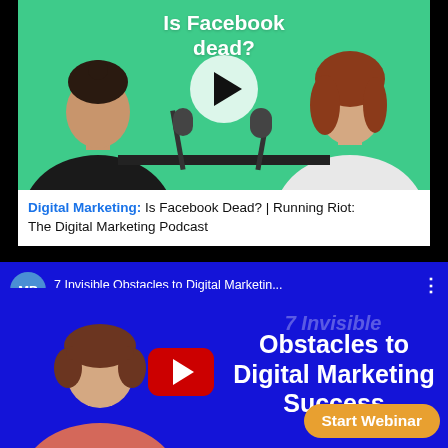[Figure (screenshot): YouTube video thumbnail and card for 'Digital Marketing: Is Facebook Dead? | Running Riot: The Digital Marketing Podcast'. Green background, two women talking at microphones, white play button overlay. Below thumbnail: text bar with blue 'Digital Marketing:' label and black text.]
Digital Marketing: Is Facebook Dead? | Running Riot: The Digital Marketing Podcast
[Figure (screenshot): YouTube video card for '7 Invisible Obstacles to Digital Marketing...' on blue background. Shows MP avatar, woman photo, YouTube play button, overlay text '7 Invisible / Obstacles to / Digital Marketing / Success', and 'Start Webinar' orange button.]
7 Invisible Obstacles to Digital Marketin...
7 Invisible Obstacles to Digital Marketing Success
Start Webinar